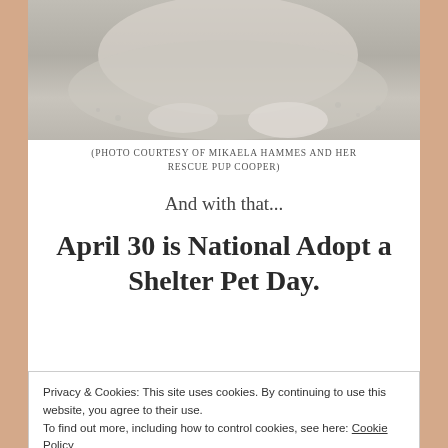[Figure (photo): Close-up photo of a dog resting on a light concrete or stone surface, showing fur and paws, muted beige and grey tones.]
(PHOTO COURTESY OF MIKAELA HAMMES AND HER RESCUE PUP COOPER)
And with that...
April 30 is National Adopt a Shelter Pet Day.
If you're ready to add a 4 legged love ball to your
Privacy & Cookies: This site uses cookies. By continuing to use this website, you agree to their use.
To find out more, including how to control cookies, see here: Cookie Policy
Close and accept
adoption visit here. Most important, the families